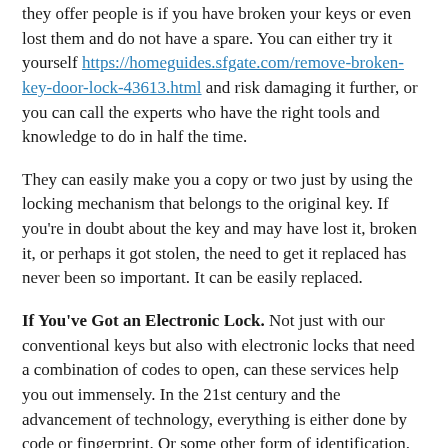they offer people is if you have broken your keys or even lost them and do not have a spare. You can either try it yourself https://homeguides.sfgate.com/remove-broken-key-door-lock-43613.html and risk damaging it further, or you can call the experts who have the right tools and knowledge to do in half the time.
They can easily make you a copy or two just by using the locking mechanism that belongs to the original key. If you're in doubt about the key and may have lost it, broken it, or perhaps it got stolen, the need to get it replaced has never been so important. It can be easily replaced.
If You've Got an Electronic Lock. Not just with our conventional keys but also with electronic locks that need a combination of codes to open, can these services help you out immensely. In the 21st century and the advancement of technology, everything is either done by code or fingerprint. Or some other form of identification.
It is a very common problem to often forget the code to your door or vault in the office. While the idea of losing your keys disappears with this type of lock, the issue can sometimes